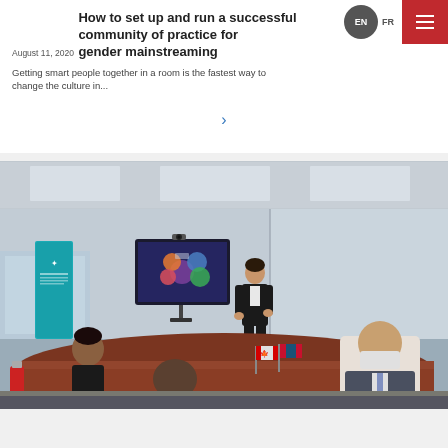August 11, 2020
How to set up and run a successful community of practice for gender mainstreaming
Getting smart people together in a room is the fastest way to change the culture in...
[Figure (photo): A conference room meeting scene with a presenter standing at a screen showing a colorful diagram, several participants seated around a table, flags on the table, and a teal UNDP banner. Participants wear masks. Photo taken during COVID-19 era.]